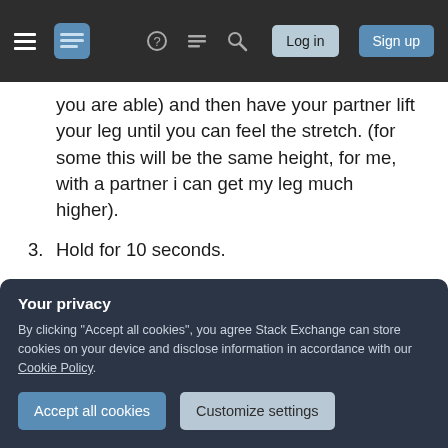Stack Exchange navigation bar with Log in and Sign up buttons
you are able) and then have your partner lift your leg until you can feel the stretch. (for some this will be the same height, for me, with a partner i can get my leg much higher).
3. Hold for 10 seconds.
4. have your partner holding steady, push against there resistance. For 10-15 seconds.
5. relax and allow your leg to be lifted higher for 10-15 seconds..
Your privacy
By clicking "Accept all cookies", you agree Stack Exchange can store cookies on your device and disclose information in accordance with our Cookie Policy.